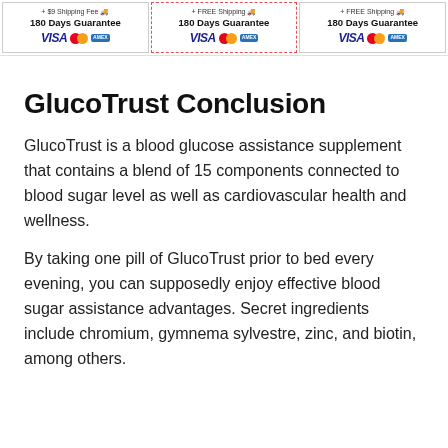[Figure (other): Three product offer cards showing shipping info, 180 Days Guarantee text, and payment logos (VISA, Mastercard, Amex). Middle card is highlighted with a dashed red border.]
GlucoTrust Conclusion
GlucoTrust is a blood glucose assistance supplement that contains a blend of 15 components connected to blood sugar level as well as cardiovascular health and wellness.
By taking one pill of GlucoTrust prior to bed every evening, you can supposedly enjoy effective blood sugar assistance advantages. Secret ingredients include chromium, gymnema sylvestre, zinc, and biotin, among others.